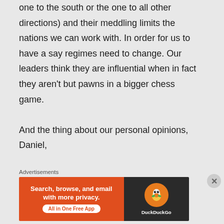one to the south or the one to all other directions) and their meddling limits the nations we can work with. In order for us to have a say regimes need to change. Our leaders think they are influential when in fact they aren't but pawns in a bigger chess game.

And the thing about our personal opinions, Daniel,
Advertisements
[Figure (other): DuckDuckGo advertisement banner: orange section with text 'Search, browse, and email with more privacy. All in One Free App' and dark section with DuckDuckGo logo and duck icon.]